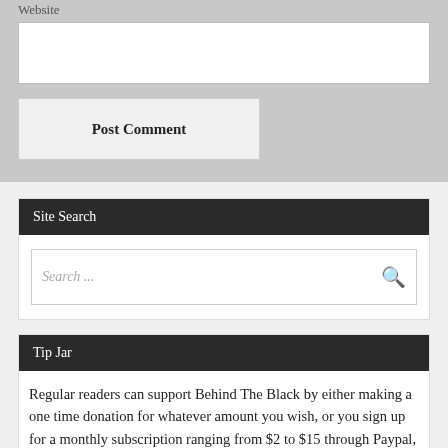Website
Post Comment
Site Search
Search ...
Tip Jar
Regular readers can support Behind The Black by either making a one time donation for whatever amount you wish, or you sign up for a monthly subscription ranging from $2 to $15 through Paypal, or $3 to $50 through Patreon, or any amount through Zelle.